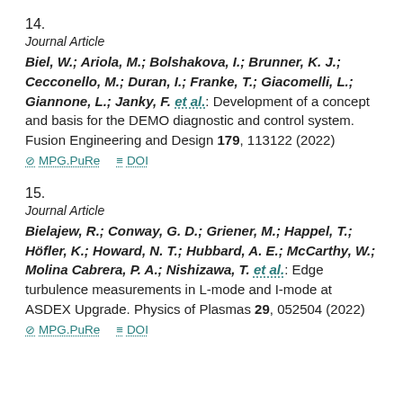14.
Journal Article
Biel, W.; Ariola, M.; Bolshakova, I.; Brunner, K. J.; Cecconello, M.; Duran, I.; Franke, T.; Giacomelli, L.; Giannone, L.; Janky, F. et al.: Development of a concept and basis for the DEMO diagnostic and control system. Fusion Engineering and Design 179, 113122 (2022)
MPG.PuRe   DOI
15.
Journal Article
Bielajew, R.; Conway, G. D.; Griener, M.; Happel, T.; Höfler, K.; Howard, N. T.; Hubbard, A. E.; McCarthy, W.; Molina Cabrera, P. A.; Nishizawa, T. et al.: Edge turbulence measurements in L-mode and I-mode at ASDEX Upgrade. Physics of Plasmas 29, 052504 (2022)
MPG.PuRe   DOI